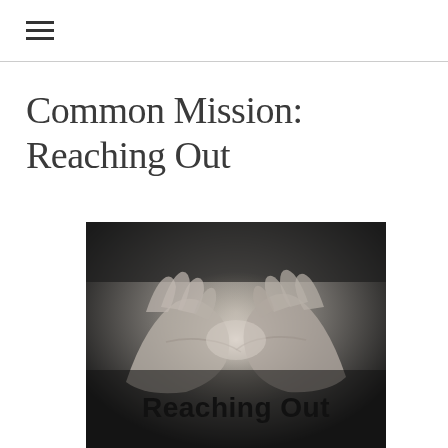Common Mission: Reaching Out
[Figure (photo): Black and white photograph of elderly hands intertwined, with bold text 'Reaching Out' overlaid at the bottom of the image.]